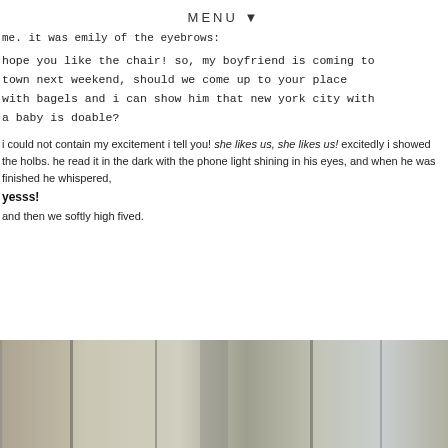MENU ▼
me. it was emily of the eyebrows:
hope you like the chair! so, my boyfriend is coming to town next weekend, should we come up to your place with bagels and i can show him that new york city with a baby is doable?
i could not contain my excitement i tell you! she likes us, she likes us! excitedly i showed the holbs. he read it in the dark with the phone light shining in his eyes, and when he was finished he whispered,
yesss!
and then we softly high fived.
[Figure (photo): Blurred indoor photo showing vertical window blinds or curtain panels in muted beige, grey, and green tones]